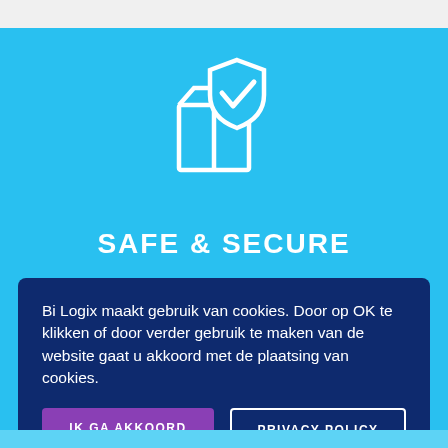[Figure (illustration): White outline icon showing a package box with a shield and checkmark overlay on a light blue background]
SAFE & SECURE
Bi Logix maakt gebruik van cookies. Door op OK te klikken of door verder gebruik te maken van de website gaat u akkoord met de plaatsing van cookies.
IK GA AKKOORD
PRIVACY POLICY